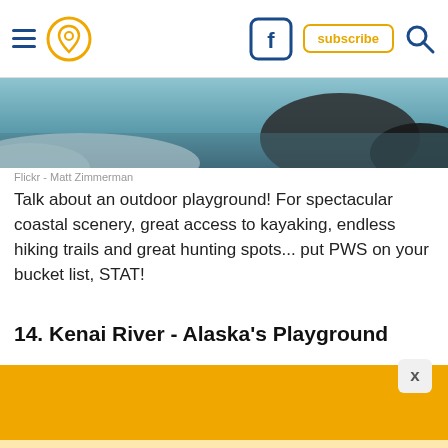Navigation bar with hamburger menu, map pin icon, Facebook icon, subscribe button, and search icon
[Figure (photo): Partial outdoor/coastal scenic photo strip showing snow, water, and dark rocks]
Flickr - Matt Zimmerman
Talk about an outdoor playground! For spectacular coastal scenery, great access to kayaking, endless hiking trails and great hunting spots... put PWS on your bucket list, STAT!
14. Kenai River - Alaska's Playground
[Figure (other): Orange advertisement banner with close (X) button, on light orange background]